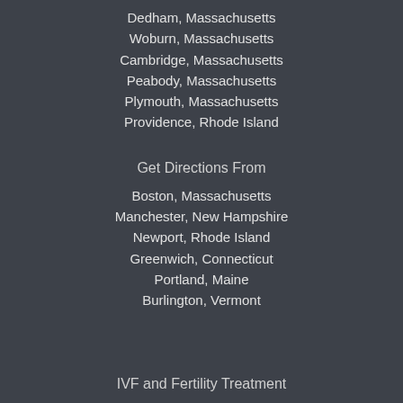Dedham, Massachusetts
Woburn, Massachusetts
Cambridge, Massachusetts
Peabody, Massachusetts
Plymouth, Massachusetts
Providence, Rhode Island
Get Directions From
Boston, Massachusetts
Manchester, New Hampshire
Newport, Rhode Island
Greenwich, Connecticut
Portland, Maine
Burlington, Vermont
IVF and Fertility Treatment